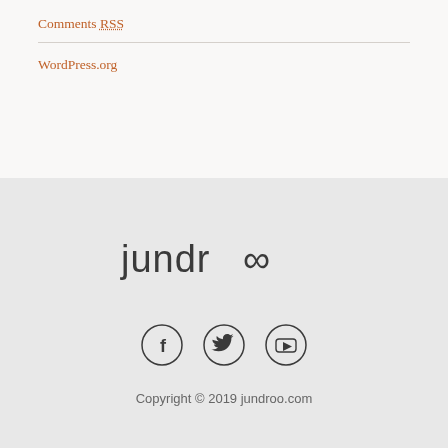Comments RSS
WordPress.org
[Figure (logo): Jundroo logo with infinity symbol replacing double-o]
[Figure (infographic): Three social media icons in circles: Facebook, Twitter, YouTube]
Copyright © 2019 jundroo.com